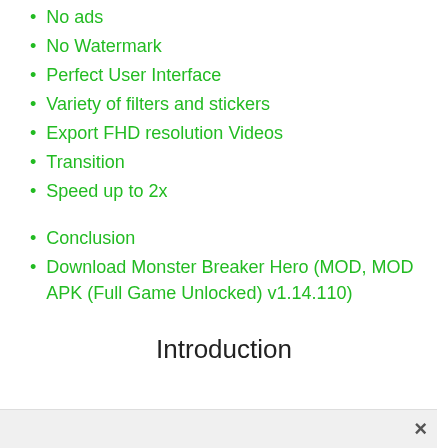No ads
No Watermark
Perfect User Interface
Variety of filters and stickers
Export FHD resolution Videos
Transition
Speed up to 2x
Conclusion
Download Monster Breaker Hero (MOD, MOD APK (Full Game Unlocked) v1.14.110)
Introduction